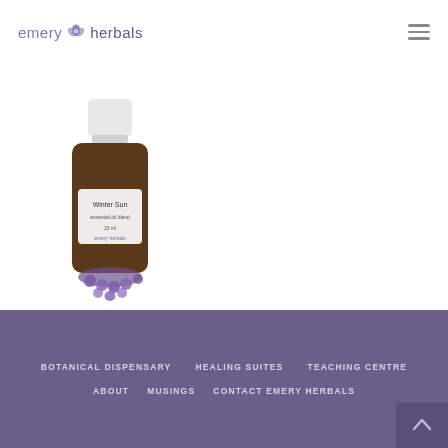[Figure (logo): Emery Herbals logo with flower icon, text reads 'emery herbals']
[Figure (photo): Small amber glass bottle with white cap labeled 'Winter Sun' essential oil blend by Emery Herbals, with purple beaded/crystal decoration at the base]
BOTANICAL DISPENSARY   HEALING SUITES   TEACHING CENTRE   ABOUT   MUSINGS   CONTACT EMERY HERBALS